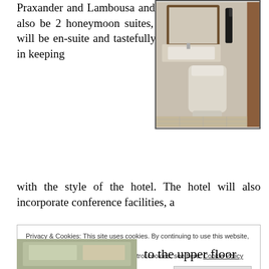Praxander and Lambousa and there will also be 2 honeymoon suites, all rooms will be en-suite and tastefully furnished in keeping with the style of the hotel. The hotel will also incorporate conference facilities, a
[Figure (photo): Photo of a hotel bathroom showing a toilet, sink, mirror with wooden frame, tile walls, and a hairdryer]
Privacy & Cookies: This site uses cookies. By continuing to use this website, you agree to their use. To find out more, including how to control cookies, see here: Cookie Policy
[Figure (photo): Partial photo visible at bottom of page showing hotel room interior]
to the upper floor